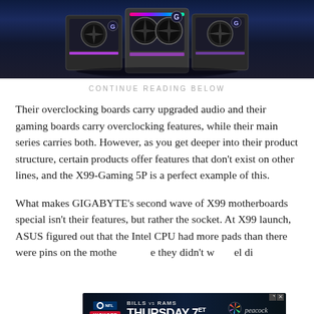[Figure (photo): Three MSI/Gigabyte gaming GPU graphics cards displayed upright against a dark blue cosmic background]
CONTINUE READING BELOW
Their overclocking boards carry upgraded audio and their gaming boards carry overclocking features, while their main series carries both. However, as you get deeper into their product structure, certain products offer features that don't exist on other lines, and the X99-Gaming 5P is a perfect example of this.
What makes GIGABYTE's second wave of X99 motherboards special isn't their features, but rather the socket. At X99 launch, ASUS figured out that the Intel CPU had more pads than there were pins on the mothe...e they didn't w...el di...